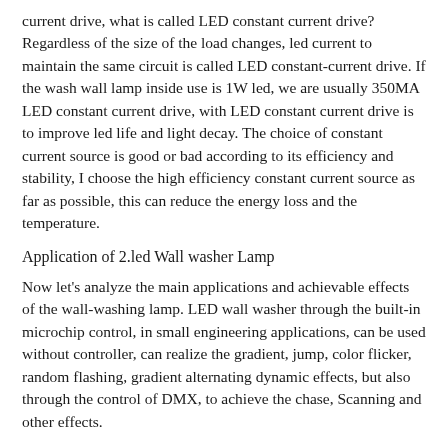current drive, what is called LED constant current drive? Regardless of the size of the load changes, led current to maintain the same circuit is called LED constant-current drive. If the wash wall lamp inside use is 1W led, we are usually 350MA LED constant current drive, with LED constant current drive is to improve led life and light decay. The choice of constant current source is good or bad according to its efficiency and stability, I choose the high efficiency constant current source as far as possible, this can reduce the energy loss and the temperature.
Application of 2.led Wall washer Lamp
Now let's analyze the main applications and achievable effects of the wall-washing lamp. LED wall washer through the built-in microchip control, in small engineering applications, can be used without controller, can realize the gradient, jump, color flicker, random flashing, gradient alternating dynamic effects, but also through the control of DMX, to achieve the chase, Scanning and other effects.
3. Application Sites
Application sites: Single buildings, historical buildings, external wall lighting. The building inside the light outside the illumination, indoor partial illumination. Green Landscape Lighting